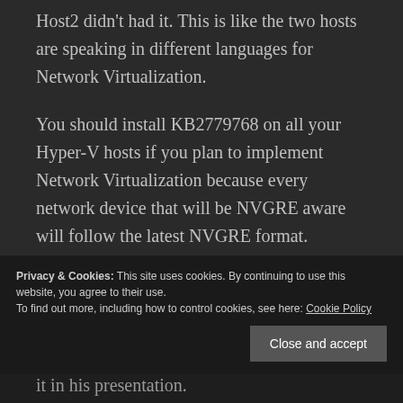Host2 didn't had it. This is like the two hosts are speaking in different languages for Network Virtualization.
You should install KB2779768 on all your Hyper-V hosts if you plan to implement Network Virtualization because every network device that will be NVGRE aware will follow the latest NVGRE format.
This issue is widely spread over Internet but only in Japanese web sites.
Privacy & Cookies: This site uses cookies. By continuing to use this website, you agree to their use.
To find out more, including how to control cookies, see here: Cookie Policy
it in his presentation.